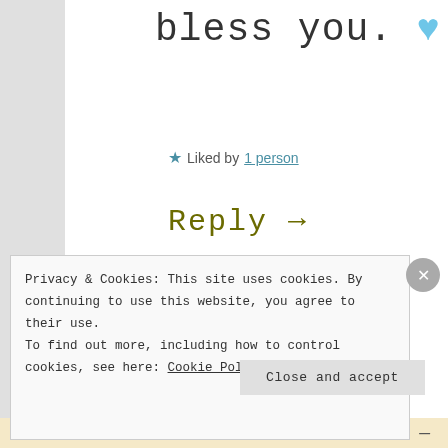bless you. 💙
★ Liked by 1 person
Reply →
[Figure (illustration): Small floral/avatar illustration visible at bottom of blog content area]
Privacy & Cookies: This site uses cookies. By continuing to use this website, you agree to their use.
To find out more, including how to control cookies, see here: Cookie Policy
Close and accept
in less than a week